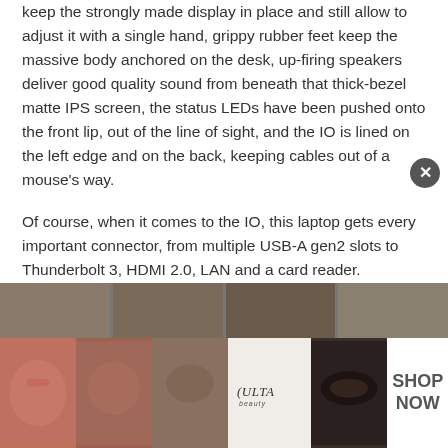keep the strongly made display in place and still allow to adjust it with a single hand, grippy rubber feet keep the massive body anchored on the desk, up-firing speakers deliver good quality sound from beneath that thick-bezel matte IPS screen, the status LEDs have been pushed onto the front lip, out of the line of sight, and the IO is lined on the left edge and on the back, keeping cables out of a mouse's way.
Of course, when it comes to the IO, this laptop gets every important connector, from multiple USB-A gen2 slots to Thunderbolt 3, HDMI 2.0, LAN and a card reader.
[Figure (photo): Row of four product/makeup thumbnail photos partially visible at bottom of page, with an advertisement banner overlay showing makeup/beauty imagery, ULTA Beauty logo, and SHOP NOW call to action.]